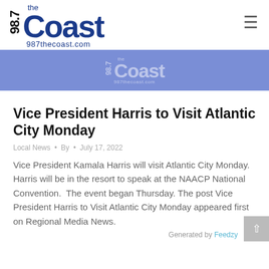98.7 the Coast 987thecoast.com
[Figure (logo): 98.7 The Coast radio station logo with blue text on white background and banner]
Vice President Harris to Visit Atlantic City Monday
Local News • By • July 17, 2022
Vice President Kamala Harris will visit Atlantic City Monday.  Harris will be in the resort to speak at the NAACP National Convention.  The event began Thursday. The post Vice President Harris to Visit Atlantic City Monday appeared first on Regional Media News.
Generated by Feedzy